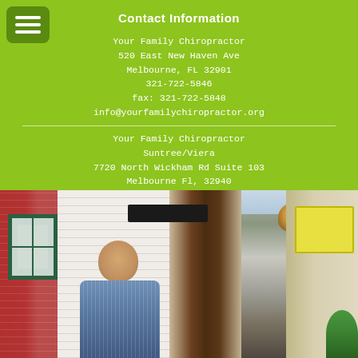Contact Information
Your Family Chiropractor
520 East New Haven Ave
Melbourne, FL 32901
321-722-5846
fax: 321-722-5848
info@yourfamilychiropractor.org
Your Family Chiropractor
Suntree/Viera
7720 North Wickham Rd Suite 103
Melbourne Fl, 32940
321-622-4832
info@yourfamilychiropractor.org
[Figure (photo): A man standing in front of a chiropractic office entrance with brick wall, white siding, teal window frames, a dark wood door, and an outdoor wall lamp]